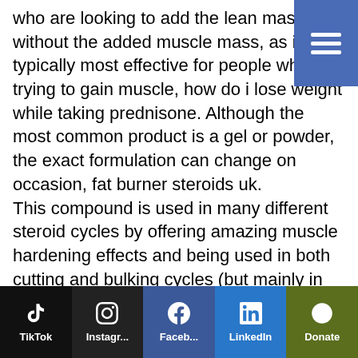who are looking to add the lean mass without the added muscle mass, as it is typically most effective for people who trying to gain muscle, how do i lose weight while taking prednisone. Although the most common product is a gel or powder, the exact formulation can change on occasion, fat burner steroids uk.
This compound is used in many different steroid cycles by offering amazing muscle hardening effects and being used in both cutting and bulking cycles (but mainly in cutting for most people)What Is DHC?
The difference between DHC and HC is as follows
[Figure (infographic): Social media footer bar with five icons: TikTok (black), Instagram (dark), Facebook (blue), LinkedIn (blue), Donate (olive green)]